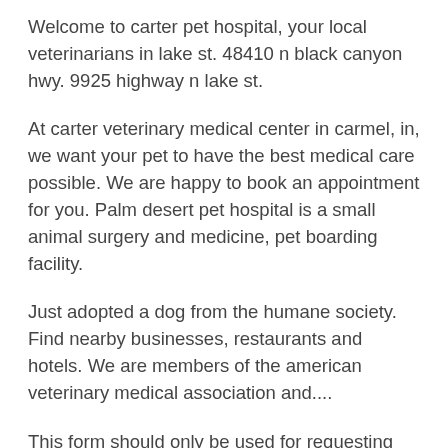Welcome to carter pet hospital, your local veterinarians in lake st. 48410 n black canyon hwy. 9925 highway n lake st.
At carter veterinary medical center in carmel, in, we want your pet to have the best medical care possible. We are happy to book an appointment for you. Palm desert pet hospital is a small animal surgery and medicine, pet boarding facility.
Just adopted a dog from the humane society. Find nearby businesses, restaurants and hotels. We are members of the american veterinary medical association and....
This form should only be used for requesting appointments that will take place at least 2 full business days after the time. This is not an automatic